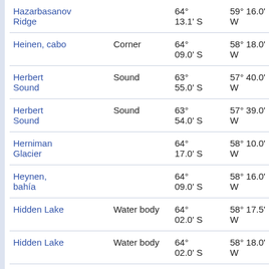| Name | Type | Latitude | Longitude | Extra |
| --- | --- | --- | --- | --- |
| Hazarbasanov Ridge |  | 64° 13.1' S | 59° 16.0' W | 64.2 at 2... |
| Heinen, cabo | Corner | 64° 09.0' S | 58° 18.0' W | 44.7 at 16 |
| Herbert Sound | Sound | 63° 55.0' S | 57° 40.0' W | 44.0 at 12 |
| Herbert Sound | Sound | 63° 54.0' S | 57° 39.0' W | 44.0 at 12 |
| Herniman Glacier |  | 64° 17.0' S | 58° 10.0' W | 60.6 at 16 |
| Heynen, bahía |  | 64° 09.0' S | 58° 16.0' W | 45.1 at 16 |
| Hidden Lake | Water body | 64° 02.0' S | 58° 17.5' W | 32.2 at 16 |
| Hidden Lake | Water body | 64° 02.0' S | 58° 18.0' W | 32.1 at 16 |